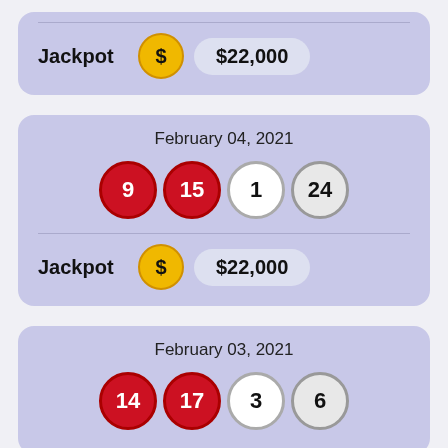Jackpot $22,000
February 04, 2021
[Figure (infographic): Lottery draw balls: 9 (red), 15 (red), 1 (white), 24 (gray)]
Jackpot $22,000
February 03, 2021
[Figure (infographic): Lottery draw balls: 14 (red), 17 (red), 3 (white), 6 (gray) — partially visible]